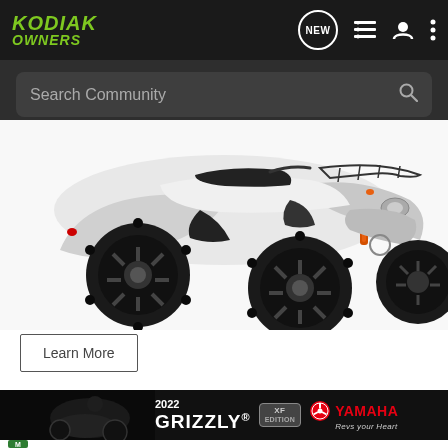[Figure (screenshot): Kodiak Owners website navigation bar with logo, NEW chat icon, list icon, user icon, and menu dots on dark background]
[Figure (screenshot): Search Community search bar with magnifying glass icon on dark background]
[Figure (photo): White Yamaha Kodiak ATV with black mud tires and orange shock absorbers on white background]
Learn More
[Figure (infographic): 2022 Grizzly XF Edition Yamaha advertisement banner showing ATV in outdoor setting with Yamaha logo and Rev Your Heart tagline]
m